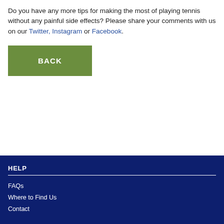Do you have any more tips for making the most of playing tennis without any painful side effects? Please share your comments with us on our Twitter, Instagram or Facebook.
[Figure (other): Green BACK button]
HELP
FAQs
Where to Find Us
Contact